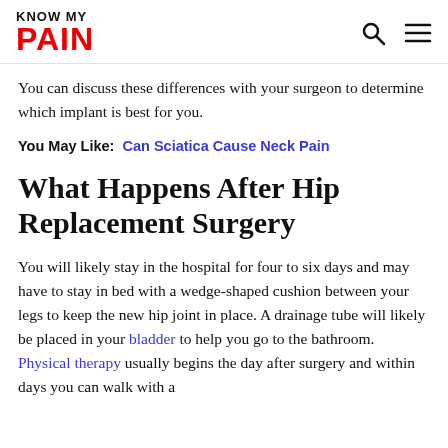KNOW MY PAIN
You can discuss these differences with your surgeon to determine which implant is best for you.
You May Like: Can Sciatica Cause Neck Pain
What Happens After Hip Replacement Surgery
You will likely stay in the hospital for four to six days and may have to stay in bed with a wedge-shaped cushion between your legs to keep the new hip joint in place. A drainage tube will likely be placed in your bladder to help you go to the bathroom. Physical therapy usually begins the day after surgery and within days you can walk with a